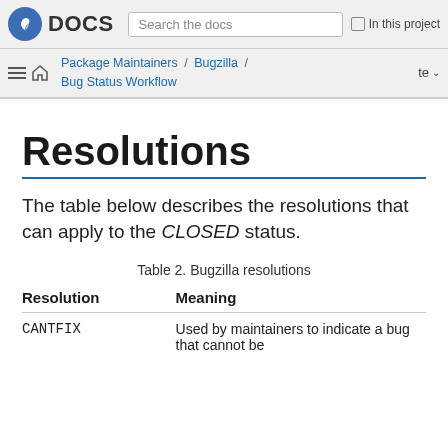Fedora DOCS — Search the docs — In this project
Package Maintainers / Bugzilla / Bug Status Workflow — te
Resolutions
The table below describes the resolutions that can apply to the CLOSED status.
Table 2. Bugzilla resolutions
| Resolution | Meaning |
| --- | --- |
| CANTFIX | Used by maintainers to indicate a bug that cannot be |